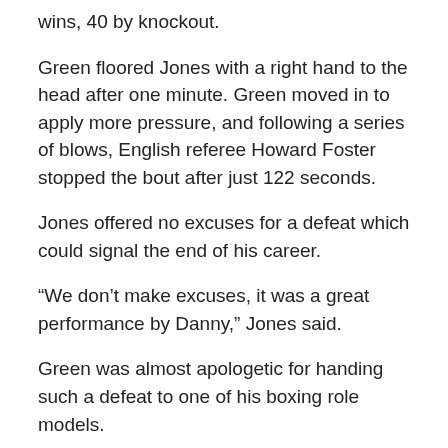wins, 40 by knockout.
Green floored Jones with a right hand to the head after one minute. Green moved in to apply more pressure, and following a series of blows, English referee Howard Foster stopped the bout after just 122 seconds.
Jones offered no excuses for a defeat which could signal the end of his career.
“We don’t make excuses, it was a great performance by Danny,” Jones said.
Green was almost apologetic for handing such a defeat to one of his boxing role models.
Green, who only came out of a 13-month retirement in April,